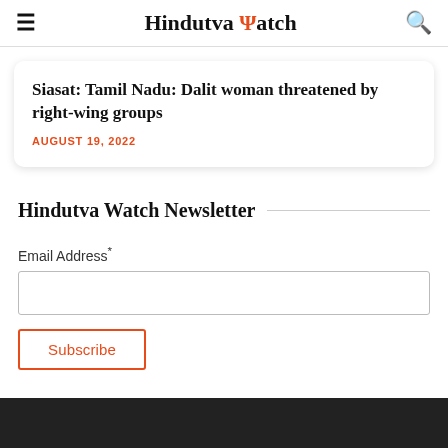Hindutva Watch
Siasat: Tamil Nadu: Dalit woman threatened by right-wing groups
AUGUST 19, 2022
Hindutva Watch Newsletter
Email Address*
Subscribe